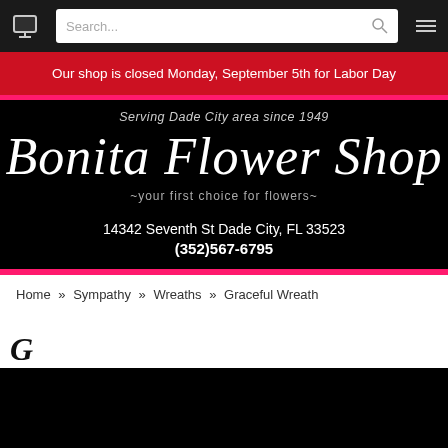[Figure (screenshot): Website navigation bar with cart icon, search box, and menu icon on dark background]
Our shop is closed Monday, September 5th for Labor Day
Serving Dade City area since 1949
Bonita Flower Shop
~your first choice for flowers~
14342 Seventh St Dade City, FL 33523
(352)567-6795
Home » Sympathy » Wreaths » Graceful Wreath